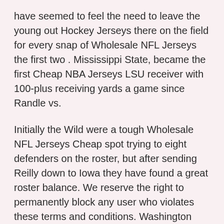have seemed to feel the need to leave the young out Hockey Jerseys there on the field for every snap of Wholesale NFL Jerseys the first two . Mississippi State, became the first Cheap NBA Jerseys LSU receiver with 100-plus receiving yards a game since Randle vs.
Initially the Wild were a tough Wholesale NFL Jerseys Cheap spot trying to eight defenders on the roster, but after sending Reilly down to Iowa they have found a great roster balance. We reserve the right to permanently block any user who violates these terms and conditions. Washington didn't have other options on the bench and the blame cannot be placed on , who did the best he could with what he had to work with. This isn't the first time the Browns have been linked to Garoppolo and likely won't be the last. So this will be a test for him. I'm definitely trying to prove myself this league, told ESPN980 earlier this week. Everywhere you look there is the big stars, there is the Hall of Famers